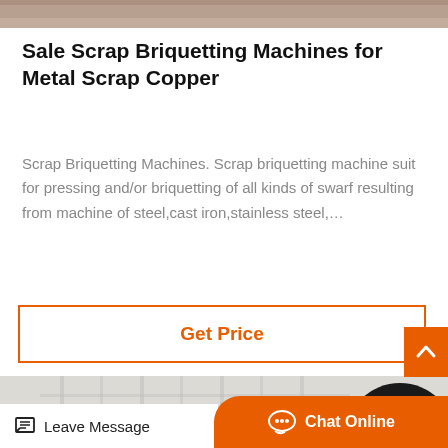[Figure (photo): Top strip of a machine or industrial product photo, cropped]
Sale Scrap Briquetting Machines for Metal Scrap Copper
Scrap Briquetting Machines. Scrap briquetting machine suit for pressing and/or briquetting of all kinds of swarf resulting from machine of steel,cast iron,stainless steel,...
[Figure (other): Get Price button with orange border]
[Figure (photo): Industrial factory or mill building with orange cylindrical equipment and a large black wheel/gear, partially visible at bottom of page]
Leave Message
Chat Online